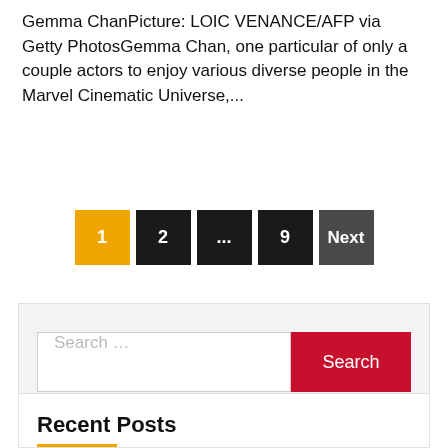Gemma ChanPicture: LOIC VENANCE/AFP via Getty PhotosGemma Chan, one particular of only a couple actors to enjoy various diverse people in the Marvel Cinematic Universe,...
Pagination: 1 (current), 2, ..., 9, Next
Search ...
Recent Posts